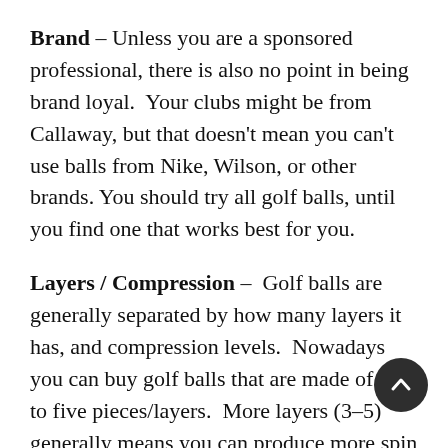Brand – Unless you are a sponsored professional, there is also no point in being brand loyal.  Your clubs might be from Callaway, but that doesn't mean you can't use balls from Nike, Wilson, or other brands. You should try all golf balls, until you find one that works best for you.
Layers / Compression –  Golf balls are generally separated by how many layers it has, and compression levels.  Nowadays you can buy golf balls that are made of up to five pieces/layers.  More layers (3–5) generally means you can produce more spin with the b[all].  Less layers means less spin, but better